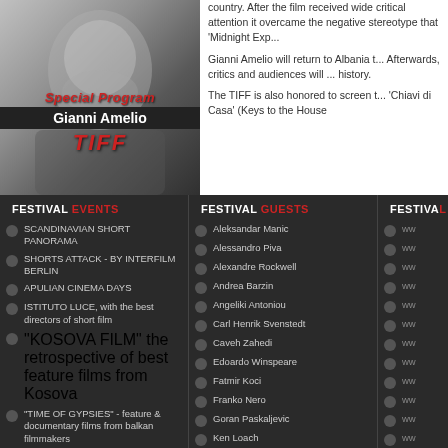[Figure (photo): Black and white portrait photo of Gianni Amelio with overlay text 'Special Program Gianni Amelio TIFF']
country. After the film received wide critical attention it overcame the negative stereotype that 'Midnight Express' created about Turkey and the country.

Gianni Amelio will return to Albania to present 'Lamerica' at TIFF. Afterwards, critics and audiences will have the opportunity to discuss its history.

The TIFF is also honored to screen two works by Gianni Amelio: 'Chiavi di Casa' (Keys to the House
FESTIVAL EVENTS
FESTIVAL GUESTS
FESTIVAL
SCANDINAVIAN SHORT PANORAMA
SHORTS ATTACK - BY INTERFILM BERLIN
APULIAN CINEMA DAYS
ISTITUTO LUCE, with the best directors of short film
"KOSOVA FILM" the retrospective of best feature films from Kosova
"TIME OF GYPSIES" - feature & documentary films from balkan filmmakers
"ACADEMY OF ARTS" film school works from: denmark, israel, kosova
Aleksandar Manic
Alessandro Piva
Alexandre Rockwell
Andrea Barzin
Angeliki Antoniou
Carl Henrik Svenstedt
Caveh Zahedi
Edoardo Winspeare
Fatmir Koci
Franko Nero
Goran Paskaljevic
Ken Loach
Miguel Hermoso
Niko Xhirasola